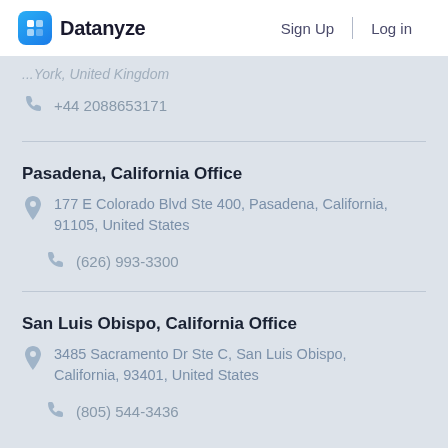Datanyze  Sign Up  Log in
...York, United Kingdom
+44 2088653171
Pasadena, California Office
177 E Colorado Blvd Ste 400, Pasadena, California, 91105, United States
(626) 993-3300
San Luis Obispo, California Office
3485 Sacramento Dr Ste C, San Luis Obispo, California, 93401, United States
(805) 544-3436